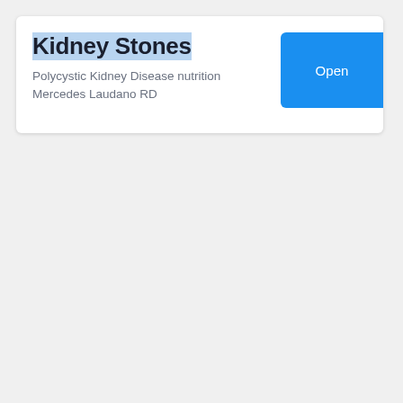Kidney Stones
Polycystic Kidney Disease nutrition Mercedes Laudano RD